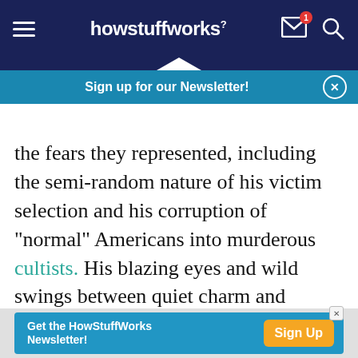howstuffworks
Sign up for our Newsletter!
the fears they represented, including the semi-random nature of his victim selection and his corruption of "normal" Americans into murderous cultists. His blazing eyes and wild swings between quiet charm and lunatic threats captivated the world, and media outlets played right into his hands by giving him a platform. He became the implicit threat of what might happen when people reject mainstream American culture. The Manson
Get the HowStuffWorks Newsletter! Sign Up